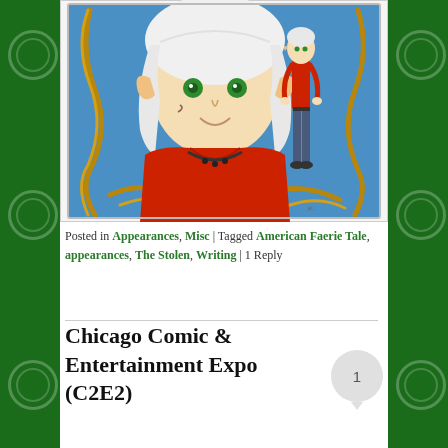[Figure (illustration): Fantasy illustration showing an elf-like character with white hair, pointed ears, green eyes, wearing a red shirt with a dark necklace, in the foreground (large bust view). In the background (smaller, full body) is the same character in a red shirt and dark jeans standing confidently. Decorative golden swirling vines frame the image on a blue background.]
Posted in Appearances, Misc | Tagged American Faerie Tale, appearances, The Stolen, Writing | 1 Reply
Chicago Comic & Entertainment Expo (C2E2)